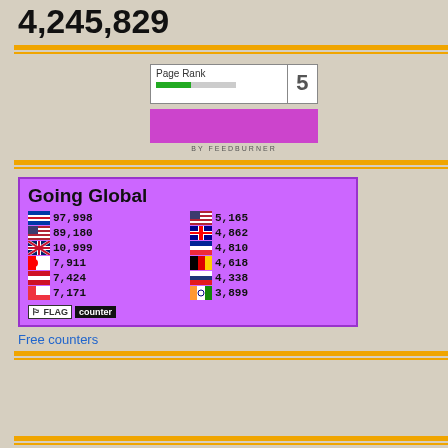4,245,829
[Figure (screenshot): PageRank 5 badge with green bar indicator]
[Figure (screenshot): Purple FeedBurner subscribe button]
[Figure (infographic): Going Global flag counter showing visitor statistics by country: Philippines 97,998; USA 89,180; UK 10,999; Canada 7,911; Indonesia 7,424; Singapore 7,171; USA 5,165; Australia 4,862; France 4,810; Germany 4,618; Russia 4,338; India 3,899]
Free counters
Rebel, sweetheart.
[Figure (photo): Photo of Coffee Dark Castile soap product at top right]
Coffee Dark Cas...
The newest addition to Casa de Loren... Soap is rich, intense, and very indulge... delight both to the skin and to the olfa... start the day.
[Figure (photo): Close-up photo of soap label showing ingredients including Dark, fr..., Coco..., Comb..., coffee b...]